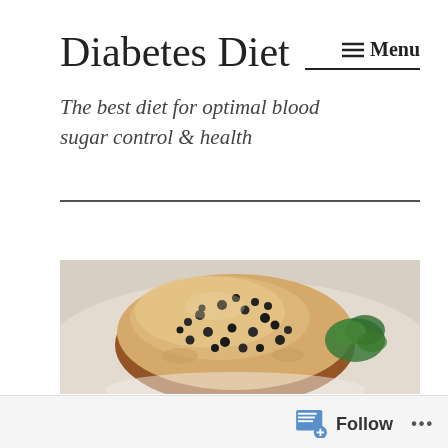Diabetes Diet
The best diet for optimal blood sugar control & health
[Figure (photo): Close-up photo of a steak fillet covered in creamy peppercorn sauce with black peppercorns, served on a white plate with a garnish of fresh herbs on the right side]
Follow ...